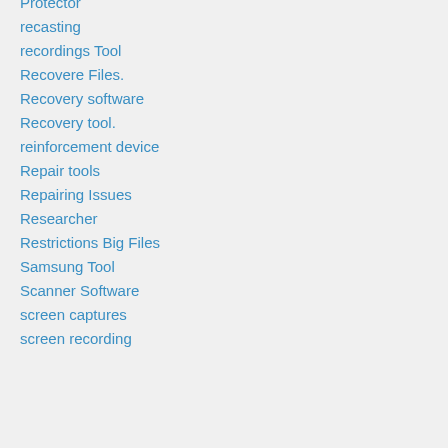Protector
recasting
recordings Tool
Recovere Files.
Recovery software
Recovery tool.
reinforcement device
Repair tools
Repairing Issues
Researcher
Restrictions Big Files
Samsung Tool
Scanner Software
screen captures
screen recording